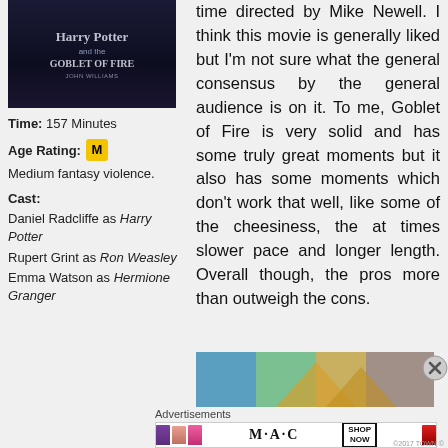[Figure (photo): Harry Potter and the Goblet of Fire movie poster — dark blue/purple background with stylized title text]
Time: 157 Minutes
Age Rating: M
Medium fantasy violence.
Cast:
Daniel Radcliffe as Harry Potter
Rupert Grint as Ron Weasley
Emma Watson as Hermione Granger
time directed by Mike Newell. I think this movie is generally liked but I'm not sure what the general consensus by the general audience is on it. To me, Goblet of Fire is very solid and has some truly great moments but it also has some moments which don't work that well, like some of the cheesiness, the at times slower pace and longer length. Overall though, the pros more than outweigh the cons.
[Figure (photo): Partial image of tents or outdoor scene, partially visible]
Advertisements
[Figure (photo): MAC cosmetics advertisement banner showing lipsticks in purple, salmon, pink, red colors with MAC logo and SHOP NOW button]